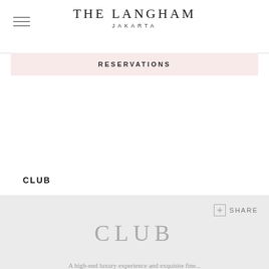THE LANGHAM JAKARTA
RESERVATIONS
CLUB
+ SHARE
CLUB